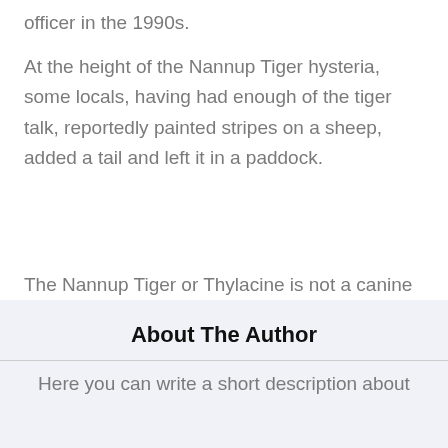officer in the 1990s.
At the height of the Nannup Tiger hysteria, some locals, having had enough of the tiger talk, reportedly painted stripes on a sheep, added a tail and left it in a paddock.
The Nannup Tiger or Thylacine is not a canine or a feline, but a marsupial!
About The Author
Here you can write a short description about